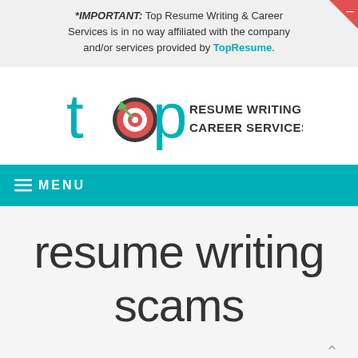*IMPORTANT: Top Resume Writing & Career Services is in no way affiliated with the company and/or services provided by TopResume.
[Figure (logo): Top Resume Writing & Career Services logo: stylized 'top' text in teal with a target/bullseye icon for the 'o', alongside text 'RESUME WRITING & CAREER SERVICES' in dark gray]
MENU
resume writing scams